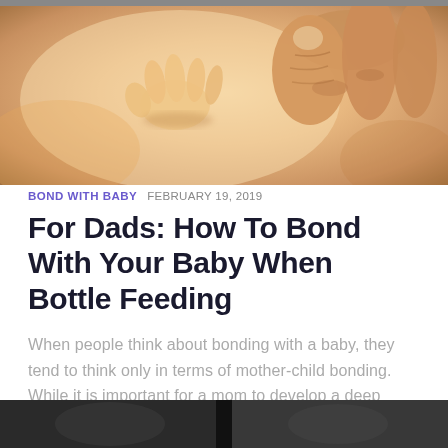[Figure (photo): Close-up photo of an adult hand holding a baby's small hand against a warm orange/cream background]
BOND WITH BABY  FEBRUARY 19, 2019
For Dads: How To Bond With Your Baby When Bottle Feeding
When people think about bonding with a baby, they tend to think only in terms of mother-child bonding. While it is important for a mom to develop a deep connection to their child – it's equally important for you as a father to establish a close, healthy bond with your...
[Figure (photo): Partial view of another article's photo at the bottom of the page, dark toned image]